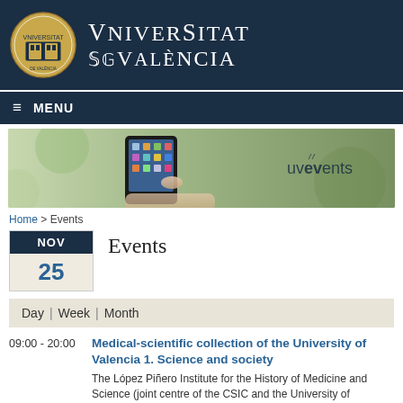[Figure (logo): Universitat de València logo with crest and wordmark on dark navy header]
MENU
[Figure (photo): Banner image of a hand holding a smartphone with apps, with 'uvevents' text overlay on green blurred background]
Home > Events
Events
NOV 25
Day | Week | Month
09:00 - 20:00
Medical-scientific collection of the University of Valencia 1. Science and society
The López Piñero Institute for the History of Medicine and Science (joint centre of the CSIC and the University of Valencia), based...